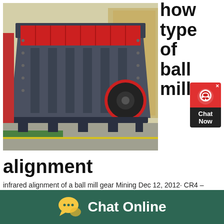[Figure (photo): Industrial impact crusher / ball mill machine, grey metal frame with red interior and red-rimmed circular wheel, photographed in a factory warehouse setting]
how type of ball mill
[Figure (other): Chat Now widget — red bubble with headset icon and black Chat Now label]
alignment
infrared alignment of a ball mill gear Mining Dec 12, 2012· CR4 – Thread: Ball Mill Girth Gear and Pinion Alignment With all due respect, the way to perform this type of alignmentIndustrial Ball Mills use horizontal rotating
[Figure (other): Chat Online button bar — dark green background with yellow speech bubble icon and white Chat Online text]